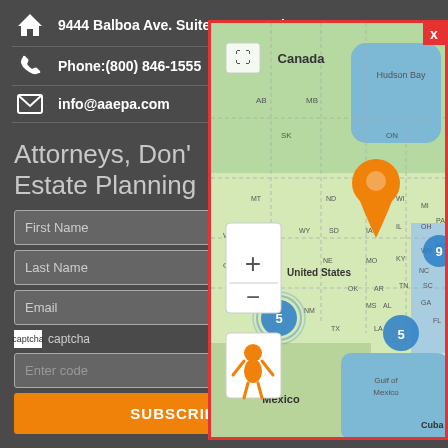9444 Balboa Ave. Suite 300 San Diego
Phone:(800) 846-1555
info@aaepa.com
Attorneys, Don't Estate Planning
First Name
Last Name
Email
captcha
Enter code
SUBSCRIBE
[Figure (map): Interactive map of United States and Canada showing location clusters. Two blue cluster markers labeled '5' (one near California/Southwest and one near southeastern US/Gulf Coast) and one blue cluster marker labeled '9' near northeastern US. Map shows political boundaries with dashed lines, labels for Canada, Hudson Bay, United States, Mexico, Cuba, Gulf of Mexico, and Canadian provinces (AB, SK, MB) and US states (MT, ND, MN, WI, MI, NY, WY, SD, IA, IL, OH, PA, NE, IN, WV, UT, MO, KY, NC, CA, OK, AR, TN, SC, NM, TX, LA, MS, AL, GA, FL). Map has zoom controls (+/-) and a fullscreen button. An orange pin/person marker is visible on the left side of the map near the western US.]